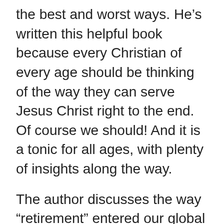the best and worst ways. He's written this helpful book because every Christian of every age should be thinking of the way they can serve Jesus Christ right to the end. Of course we should! And it is a tonic for all ages, with plenty of insights along the way.
The author discusses the way “retirement” entered our global thinking and how the Bible revolutionises age issues; he presents some fresh challenges that older people face (in mind and body) and great ways to be more useful than you thought possible.
This is a careful look at the issues through the biblical lens. As a semi-retired guy, I